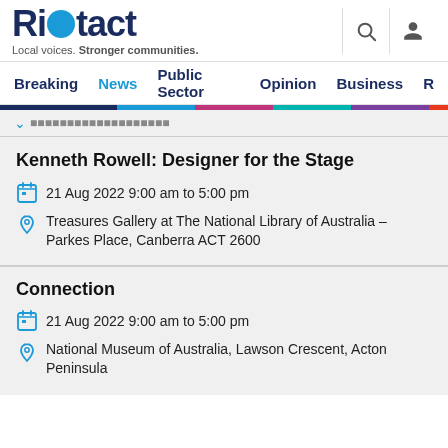Riotact – Local voices. Stronger communities.
Breaking  News  Public Sector  Opinion  Business
Kenneth Rowell: Designer for the Stage
21 Aug 2022 9:00 am to 5:00 pm
Treasures Gallery at The National Library of Australia – Parkes Place, Canberra ACT 2600
Connection
21 Aug 2022 9:00 am to 5:00 pm
National Museum of Australia, Lawson Crescent, Acton Peninsula